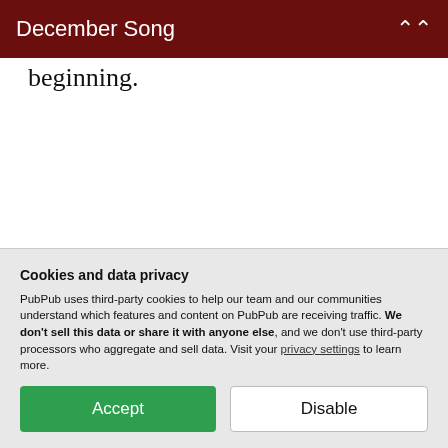December Song
beginning.
Lisa Keeton is a third-year candidate in the Creating Writing MFA Program at the University of Missouri-St. Louis. Her and
Cookies and data privacy

PubPub uses third-party cookies to help our team and our communities understand which features and content on PubPub are receiving traffic. We don't sell this data or share it with anyone else, and we don't use third-party processors who aggregate and sell data. Visit your privacy settings to learn more.

[Accept] [Disable]